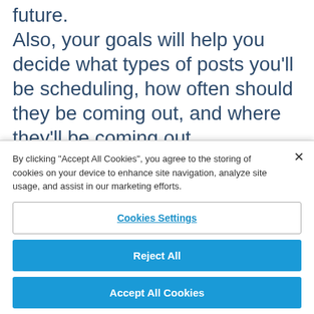future. Also, your goals will help you decide what types of posts you'll be scheduling, how often should they be coming out, and where they'll be coming out. Be very clear on your social media marketing goals before you go ahead and start
By clicking "Accept All Cookies", you agree to the storing of cookies on your device to enhance site navigation, analyze site usage, and assist in our marketing efforts.
Cookies Settings
Reject All
Accept All Cookies